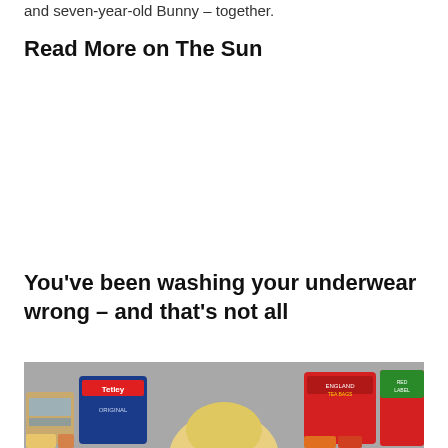and seven-year-old Bunny – together.
Read More on The Sun
You've been washing your underwear wrong – and that's not all
[Figure (photo): Photo showing various tea and laundry product boxes including Tetley Original tea bags and Red Label tea, scattered on a surface with a person visible in the background]